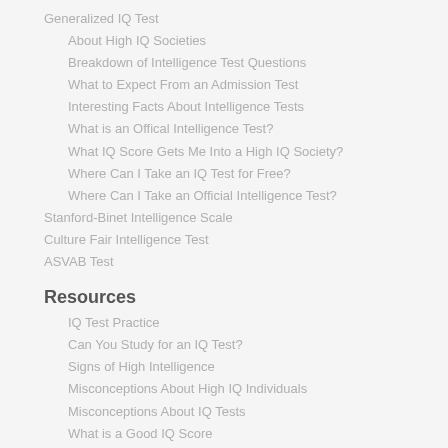Generalized IQ Test
About High IQ Societies
Breakdown of Intelligence Test Questions
What to Expect From an Admission Test
Interesting Facts About Intelligence Tests
What is an Offical Intelligence Test?
What IQ Score Gets Me Into a High IQ Society?
Where Can I Take an IQ Test for Free?
Where Can I Take an Official Intelligence Test?
Stanford-Binet Intelligence Scale
Culture Fair Intelligence Test
ASVAB Test
Resources
IQ Test Practice
Can You Study for an IQ Test?
Signs of High Intelligence
Misconceptions About High IQ Individuals
Misconceptions About IQ Tests
What is a Good IQ Score
Am I a Genius?
Take the Genius Test